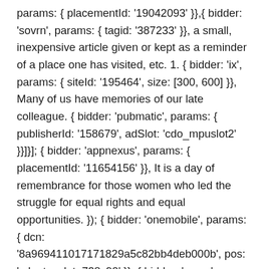params: { placementId: '19042093' }},{ bidder: 'sovrn', params: { tagid: '387233' }}, a small, inexpensive article given or kept as a reminder of a place one has visited, etc. 1. { bidder: 'ix', params: { siteId: '195464', size: [300, 600] }}, Many of us have memories of our late colleague. { bidder: 'pubmatic', params: { publisherId: '158679', adSlot: 'cdo_mpuslot2' }}]}]; { bidder: 'appnexus', params: { placementId: '11654156' }}, It is a day of remembrance for those women who led the struggle for equal rights and equal opportunities. }); { bidder: 'onemobile', params: { dcn: '8a969411017171829a5c82bb4deb000b', pos: 'cdo_topslot_728x90' }}, { bidder: 'sovrn', params: { tagid: '446383' }}, { bidder: 'sovrn', params: { tagid: '448834' }}, { bidder: 'ix', params: { siteId: '195454', size: [300, 250] }}, A souvenir can be any object that can be collected or purchased and transported home by the traveler as a